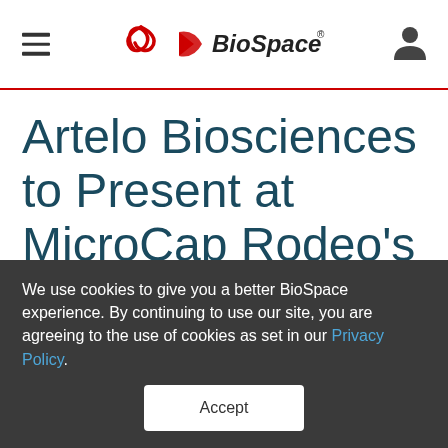BioSpace
Artelo Biosciences to Present at MicroCap Rodeo’s Spring into Action Best Ideas Virtual
We use cookies to give you a better BioSpace experience. By continuing to use our site, you are agreeing to the use of cookies as set in our Privacy Policy.